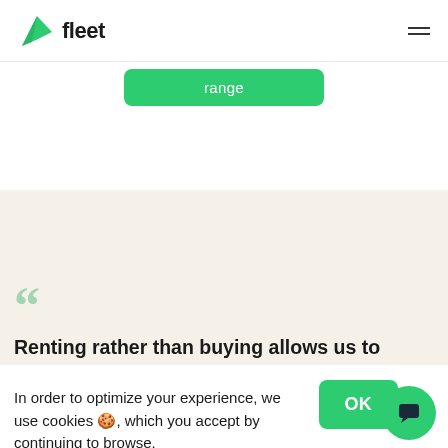fleet
range
Renting rather than buying allows us to
In order to optimize your experience, we use cookies 🍪, which you accept by continuing to browse.
Learn more
OK